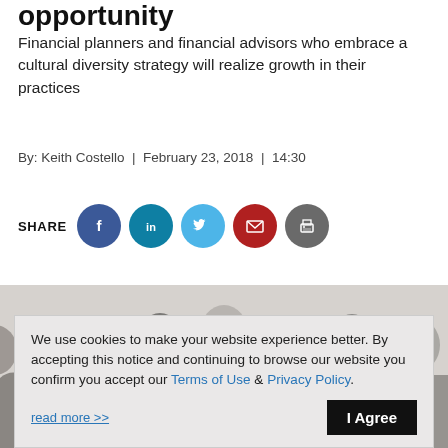opportunity
Financial planners and financial advisors who embrace a cultural diversity strategy will realize growth in their practices
By: Keith Costello  |  February 23, 2018  |  14:30
[Figure (infographic): Row of social share buttons: Facebook (blue), LinkedIn (teal), Twitter (light blue), Email (red), Print (gray)]
[Figure (photo): A diverse group of people standing together, cropped to show their heads and upper bodies against a white background]
We use cookies to make your website experience better. By accepting this notice and continuing to browse our website you confirm you accept our Terms of Use & Privacy Policy.

read more >>    I Agree